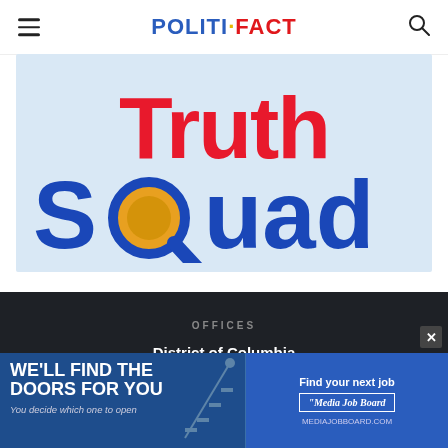POLITIFACT
[Figure (logo): Truth Squad logo — bold red 'Truth' text above bold blue 'SQuad' text with a gold magnifying glass lens replacing the 'O', on a light blue background]
OFFICES
District of Columbia
1800 I Street NW
Washington, DC 20006
[Figure (infographic): Advertisement banner: left side dark blue with 'WE'LL FIND THE DOORS FOR YOU / You decide which one to open' and a staircase figure; right side blue with 'Find your next job' and 'Media Job Board' logo]